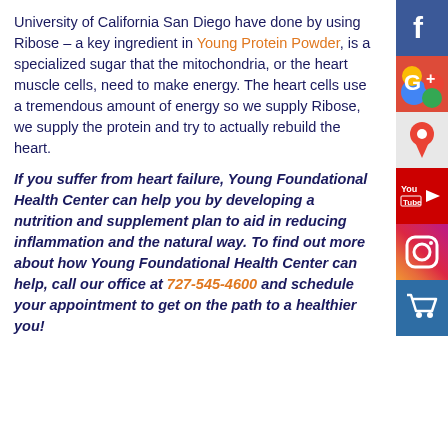University of California San Diego have done by using Ribose – a key ingredient in Young Protein Powder, is a specialized sugar that the mitochondria, or the heart muscle cells, need to make energy. The heart cells use a tremendous amount of energy so we supply Ribose, we supply the protein and try to actually rebuild the heart.
If you suffer from heart failure, Young Foundational Health Center can help you by developing a nutrition and supplement plan to aid in reducing inflammation and the natural way. To find out more about how Young Foundational Health Center can help, call our office at 727-545-4600 and schedule your appointment to get on the path to a healthier you!
[Figure (other): Social media icons sidebar: Facebook (blue), Google+ (red/multicolor), Google Maps pin (red/white), YouTube (red), Instagram (gradient), Shopping cart (blue)]